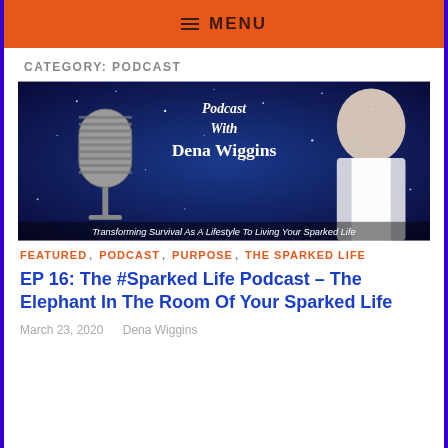MENU
CATEGORY: PODCAST
[Figure (illustration): Podcast With Dena Wiggins banner image featuring a vintage microphone on a blue starry background with a woman in a white shirt. Text reads: Podcast With Dena Wiggins – Transforming Survival As A Lifestyle To Living Your Sparked Life]
FEATURED, PODCAST, PURPOSE, THE SPARKED LIFE
EP 16: The #Sparked Life Podcast – The Elephant In The Room Of Your Sparked Life
March 23, 2020   Dena Wiggins